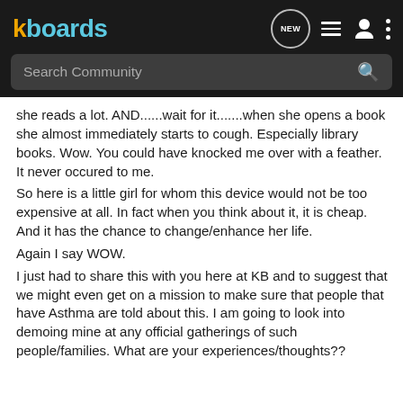kboards
[Figure (screenshot): Search Community bar with magnifying glass icon on dark background]
she reads a lot.  AND......wait for it.......when she opens a book she almost immediately starts to cough.  Especially library books.  Wow.  You could have knocked me over with a feather.  It never occured to me.
So here is a little girl for whom this device would not be too expensive at all.  In fact when you think about it, it is cheap.  And it has the chance to change/enhance her life.
Again I say WOW.
I just had to share this with you here at KB and to suggest that we might even get on a mission to make sure that people that have Asthma are told about this.  I am going to look into demoing mine at any official gatherings of such people/families.  What are your experiences/thoughts??